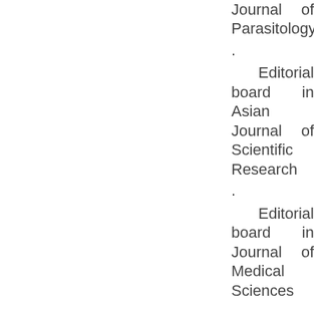Research Journal of Parasitology
· Editorial board in Asian Journal of Scientific Research
· Editorial board in Journal of Medical Sciences
· Editorial board in Trends in Medical